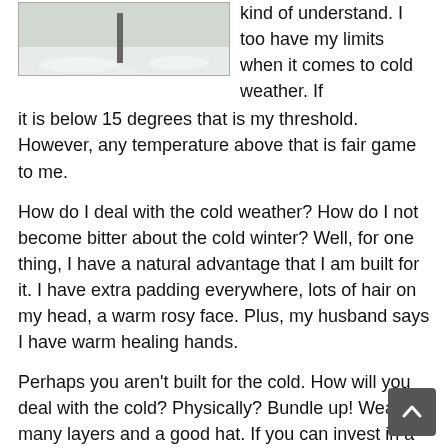[Figure (photo): Snowy outdoor scene with a post or sign in the snow]
kind of understand. I too have my limits when it comes to cold weather. If it is below 15 degrees that is my threshold. However, any temperature above that is fair game to me.
How do I deal with the cold weather? How do I not become bitter about the cold winter? Well, for one thing, I have a natural advantage that I am built for it. I have extra padding everywhere, lots of hair on my head, a warm rosy face. Plus, my husband says I have warm healing hands.
Perhaps you aren't built for the cold. How will you deal with the cold? Physically? Bundle up! Wear many layers and a good hat. If you can invest in a great pair of boots do so. Mentally prepare yourself by acknowledging it may be cold, you may be uncomfortable. But once you start moving around you will warm up. As long as you are dressed for the weather, you will most likely find yourself not only be warm enough but possibly too warm